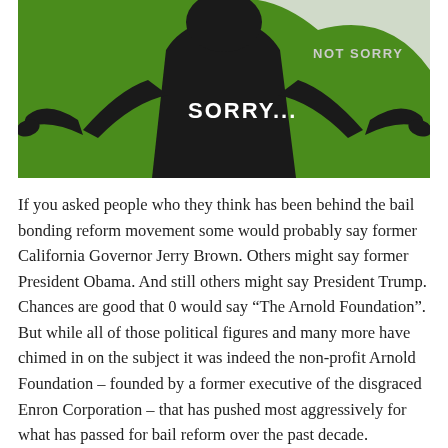[Figure (illustration): Green background with black silhouette of a person shrugging with arms spread out, wearing a suit. Text 'SORRY...' in white on the figure's chest area, and 'NOT SORRY' in light gray on the right side of the image.]
If you asked people who they think has been behind the bail bonding reform movement some would probably say former California Governor Jerry Brown. Others might say former President Obama. And still others might say President Trump. Chances are good that 0 would say "The Arnold Foundation". But while all of those political figures and many more have chimed in on the subject it was indeed the non-profit Arnold Foundation – founded by a former executive of the disgraced Enron Corporation – that has pushed most aggressively for what has passed for bail reform over the past decade.